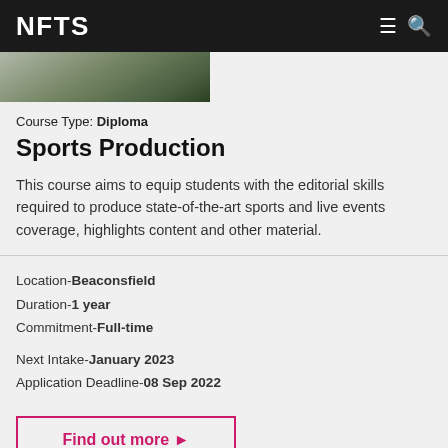NFTS
[Figure (photo): Partial photo of a person outdoors on a green field, cropped at top]
Course Type: Diploma
Sports Production
This course aims to equip students with the editorial skills required to produce state-of-the-art sports and live events coverage, highlights content and other material.
Location-Beaconsfield
Duration-1 year
Commitment-Full-time
Next Intake-January 2023
Application Deadline-08 Sep 2022
Find out more ▶